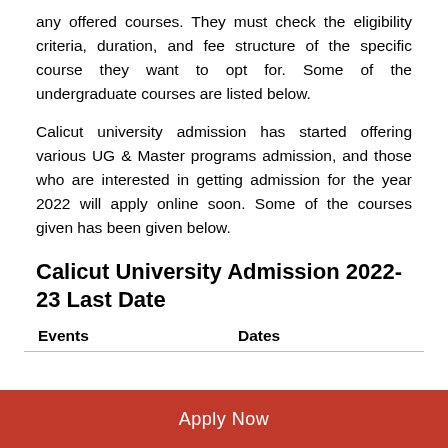any offered courses. They must check the eligibility criteria, duration, and fee structure of the specific course they want to opt for. Some of the undergraduate courses are listed below.
Calicut university admission has started offering various UG & Master programs admission, and those who are interested in getting admission for the year 2022 will apply online soon. Some of the courses given has been given below.
Calicut University Admission 2022-23 Last Date
| Events | Dates |
| --- | --- |
Apply Now